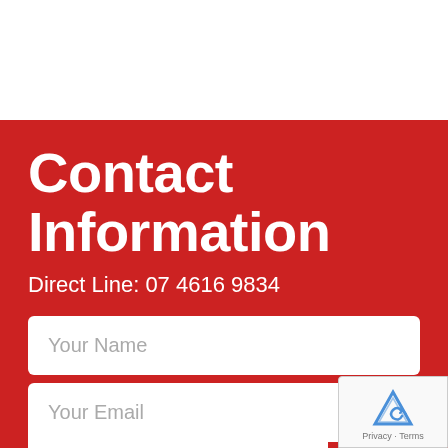Contact Information
Direct Line: 07 4616 9834
Your Name
Your Email